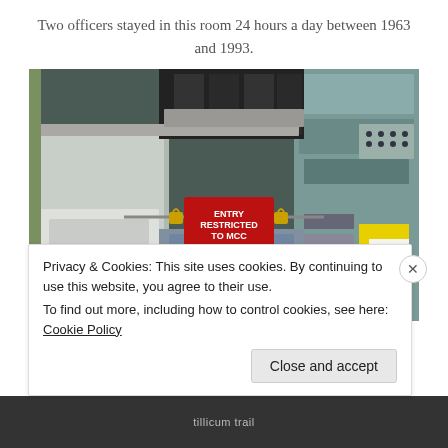Two officers stayed in this room 24 hours a day between 1963 and 1993.
[Figure (photo): Interior photograph of a military or government control room with racks of electronic equipment. A red sign in the center reads 'ENTRY RESTRICTED TO MCC ON DUTY' with padlocks on a horizontal bar.]
Privacy & Cookies: This site uses cookies. By continuing to use this website, you agree to their use.
To find out more, including how to control cookies, see here: Cookie Policy
Close and accept